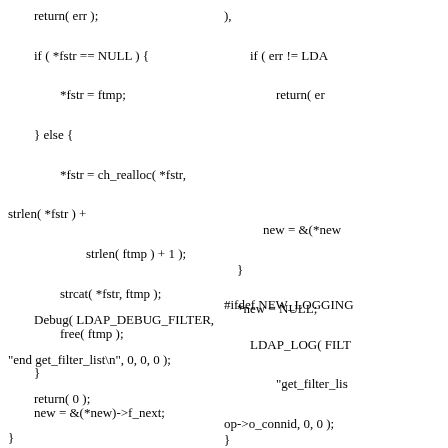return( err );
            if ( *fstr == NULL ) {
                    *fstr = ftmp;
            } else {
                    *fstr = ch_realloc( *fstr,
strlen( *fstr ) +
                            strlen( ftmp ) + 1 );
                    strcat( *fstr, ftmp );
                    free( ftmp );
            }
            new = &(*new)->f_next;
    }
    *new = NULL;
Debug( LDAP_DEBUG_FILTER,
"end get_filter_list\n", 0, 0, 0 );
        return( 0 );
),
            if ( err != LDA
                    return( er
new = &(*new
    }
    *new = NULL;
#ifdef NEW_LOGGING
        LDAP_LOG( FILT
                "get_filter_lis
op->o_connid, 0, 0 );
#else
        Debug( LDAP_DE
"end get_filter_list\n", 0,
#endif
        return( LDAP_SU